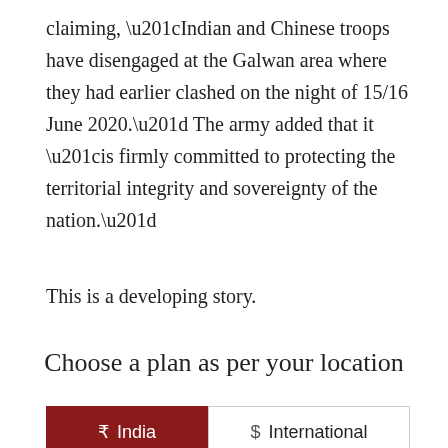claiming, “Indian and Chinese troops have disengaged at the Galwan area where they had earlier clashed on the night of 15/16 June 2020.” The army added that it “is firmly committed to protecting the territorial integrity and sovereignty of the nation.”
This is a developing story.
Choose a plan as per your location
₹  India    $  International